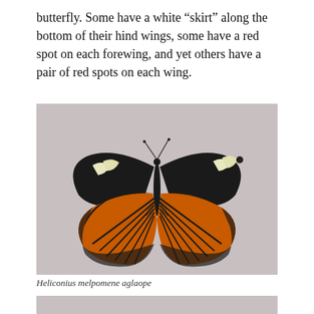butterfly. Some have a white “skirt” along the bottom of their hind wings, some have a red spot on each forewing, and yet others have a pair of red spots on each wing.
[Figure (photo): A pinned specimen of Heliconius melpomene aglaope butterfly photographed against a pale grey-pink background. The butterfly has large wings spread open showing bold orange and black patterning on the hindwings with radiating black veins, and dark black forewings with cream/white patches near the upper outer edge.]
Heliconius melpomene aglaope
[Figure (photo): Partial view of another butterfly specimen, cropped at the bottom of the page showing only the top portion against a similar pale grey-pink background.]